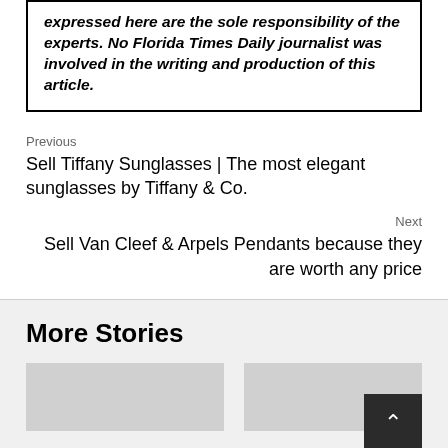expressed here are the sole responsibility of the experts. No Florida Times Daily journalist was involved in the writing and production of this article.
Previous
Sell Tiffany Sunglasses | The most elegant sunglasses by Tiffany & Co.
Next
Sell Van Cleef & Arpels Pendants because they are worth any price
More Stories
[Figure (photo): Two placeholder story card images (grey rectangles)]